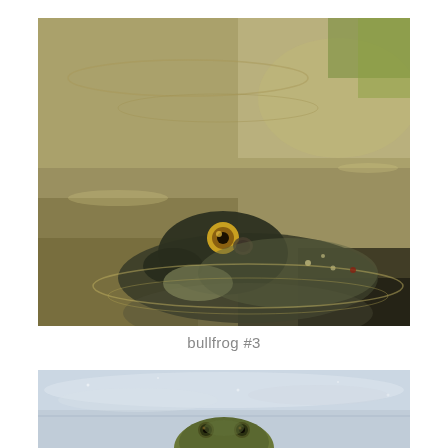[Figure (photo): Close-up photograph of a bullfrog partially submerged in water, viewed from the side. The frog has a dark olive-green body with a prominent golden eye. Water ripples and reflections are visible around the frog.]
bullfrog #3
[Figure (photo): Partial photograph of another bullfrog in water, showing the frog from the front/above. The frog's head and eyes are visible at the bottom of the frame, surrounded by calm water reflecting a blue sky.]